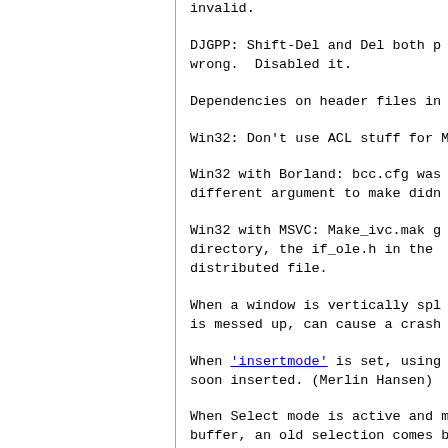invalid.
DJGPP: Shift-Del and Del both p
wrong.  Disabled it.
Dependencies on header files in
Win32: Don't use ACL stuff for M
Win32 with Borland: bcc.cfg was
different argument to make didn
Win32 with MSVC: Make_ivc.mak g
directory, the if_ole.h in the
distributed file.
When a window is vertically spl
is messed up, can cause a crash
When 'insertmode' is set, using
soon inserted. (Merlin Hansen)
When Select mode is active and
buffer, an old selection comes
command.
When Select mode is active and